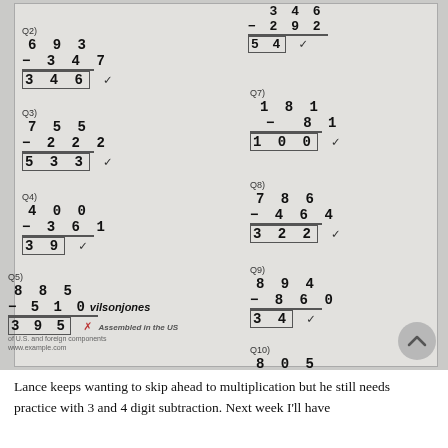[Figure (photo): Photo of a math worksheet showing 3-digit subtraction problems Q1-Q10, with handwritten answers. Q2: 693-347=346✓, Q3: 755-222=533✓, Q4: 400-361=39✓, Q5: 885-510=395✗, Q7: 181-81=100✓, Q8: 786-464=322✓, Q9: 894-860=34✓, Q10: 805-447=358✓. Also visible is a watermark/sticker and a scroll-up button overlay.]
Lance keeps wanting to skip ahead to multiplication but he still needs practice with 3 and 4 digit subtraction. Next week I'll have